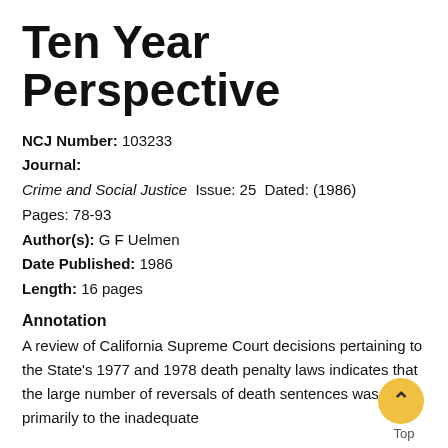Ten Year Perspective
NCJ Number: 103233
Journal:
Crime and Social Justice  Issue: 25  Dated: (1986)
Pages: 78-93
Author(s): G F Uelmen
Date Published: 1986
Length: 16 pages
Annotation
A review of California Supreme Court decisions pertaining to the State's 1977 and 1978 death penalty laws indicates that the large number of reversals of death sentences was due primarily to the inadequate